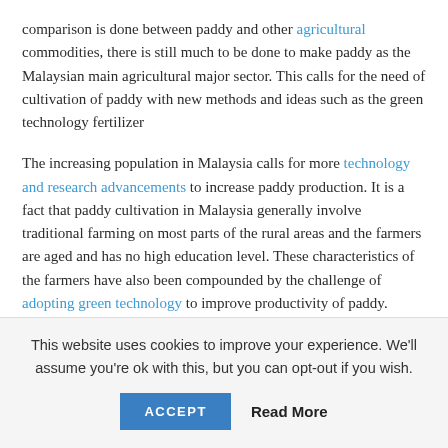comparison is done between paddy and other agricultural commodities, there is still much to be done to make paddy as the Malaysian main agricultural major sector. This calls for the need of cultivation of paddy with new methods and ideas such as the green technology fertilizer
The increasing population in Malaysia calls for more technology and research advancements to increase paddy production. It is a fact that paddy cultivation in Malaysia generally involve traditional farming on most parts of the rural areas and the farmers are aged and has no high education level. These characteristics of the farmers have also been compounded by the challenge of adopting green technology to improve productivity of paddy. Therefore,
This website uses cookies to improve your experience. We'll assume you're ok with this, but you can opt-out if you wish.
ACCEPT  Read More